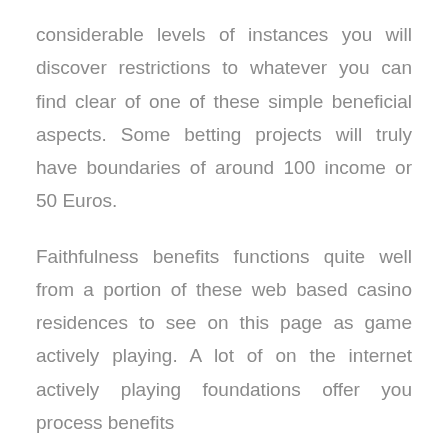considerable levels of instances you will discover restrictions to whatever you can find clear of one of these simple beneficial aspects. Some betting projects will truly have boundaries of around 100 income or 50 Euros.
Faithfulness benefits functions quite well from a portion of these web based casino residences to see on this page as game actively playing. A lot of on the internet actively playing foundations offer you process benefits